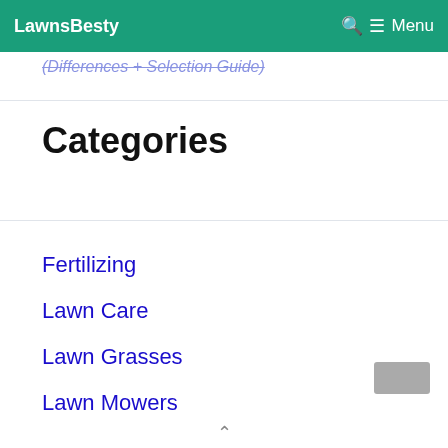LawnsBesty | Menu
(Differences + Selection Guide)
Categories
Fertilizing
Lawn Care
Lawn Grasses
Lawn Mowers